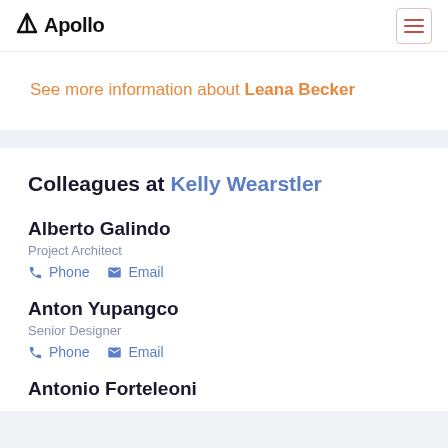Apollo
See more information about Leana Becker
Colleagues at Kelly Wearstler
Alberto Galindo
Project Architect
Phone  Email
Anton Yupangco
Senior Designer
Phone  Email
Antonio Forteleoni